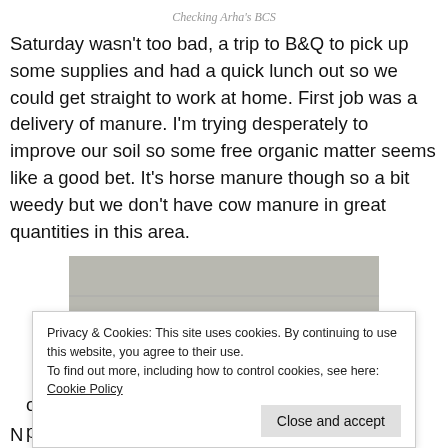Checking Arha's BCS
Saturday wasn't too bad, a trip to B&Q to pick up some supplies and had a quick lunch out so we could get straight to work at home. First job was a delivery of manure. I'm trying desperately to improve our soil so some free organic matter seems like a good bet. It's horse manure though so a bit weedy but we don't have cow manure in great quantities in this area.
[Figure (photo): A collection of bags of compost and soil supplies stacked against a concrete wall on bare earth ground.]
Privacy & Cookies: This site uses cookies. By continuing to use this website, you agree to their use.
To find out more, including how to control cookies, see here: Cookie Policy
out the chickens. We've been having a slight problem with